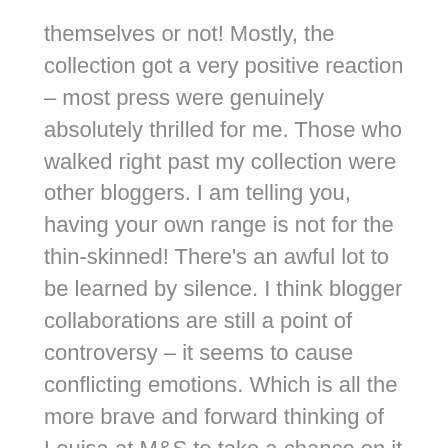themselves or not! Mostly, the collection got a very positive reaction – most press were genuinely absolutely thrilled for me. Those who walked right past my collection were other bloggers. I am telling you, having your own range is not for the thin-skinned! There's an awful lot to be learned by silence. I think blogger collaborations are still a point of controversy – it seems to cause conflicting emotions. Which is all the more brave and forward thinking of Louisa at M&S to take a chance on it because that was always a known factor.
After the Christmas launch, Janice, the M&S PR started sending out the products, and the range has begun to appear on blogs and soon to appear